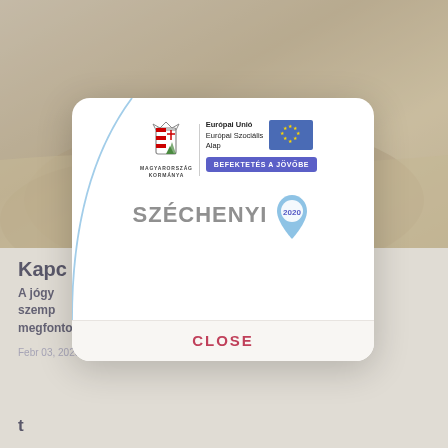[Figure (photo): Background scene showing a person silhouette with raised arms against a sandy/earthy landscape, partially obscured by modal overlay]
Kapc
A jógy...okra a szemp...pp megfontoland...
Febr 03, 2020 | 0 Hozzászólások
[Figure (logo): Széchenyi 2020 modal dialog with Magyarország Kormánya logo, Európai Unió Európai Szociális Alap branding, EU flag, BEFEKTETÉS A JÖVŐBE badge, and Széchenyi 2020 logo with location pin icon. CLOSE button at bottom.]